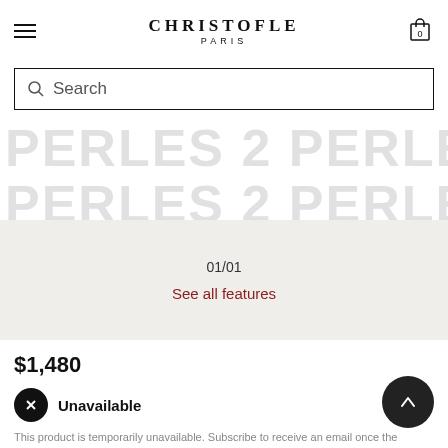CHRISTOFLE PARIS
Search
PERLES 2 PERLES 2 PERL
PERLES 2 PERLES 2 PERL
01/01
See all features
$1,480
Unavailable
This product is temporarily unavailable. Subscribe to receive an email once the product is back in stock.